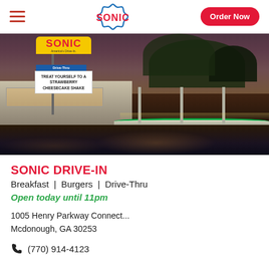SONIC | Order Now
[Figure (photo): Sonic Drive-In restaurant at dusk/night with illuminated canopy, wet parking lot, and Sonic signage showing 'TREAT YOURSELF TO A STRAWBERRY CHEESECAKE SHAKE']
SONIC DRIVE-IN
Breakfast  |  Burgers  |  Drive-Thru
Open today until 11pm
1005 Henry Parkway Connect...
Mcdonough, GA 30253
(770) 914-4123